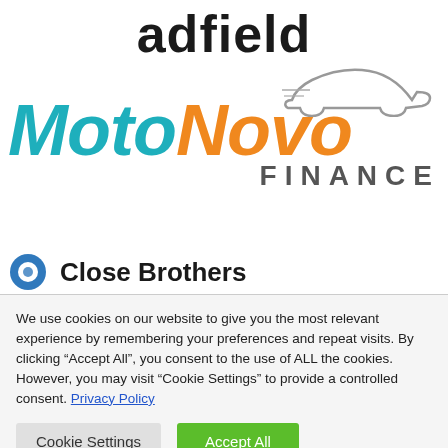[Figure (logo): adfield logo — large bold black text reading 'adfield']
[Figure (logo): MotoNovo Finance logo — 'Moto' in teal italic, 'Novo' in orange italic, 'FINANCE' in grey spaced caps, with a grey car silhouette outline above]
[Figure (logo): Close Brothers logo — blue circular icon and bold text 'Close Brothers' partially visible]
We use cookies on our website to give you the most relevant experience by remembering your preferences and repeat visits. By clicking “Accept All”, you consent to the use of ALL the cookies. However, you may visit “Cookie Settings” to provide a controlled consent. Privacy Policy